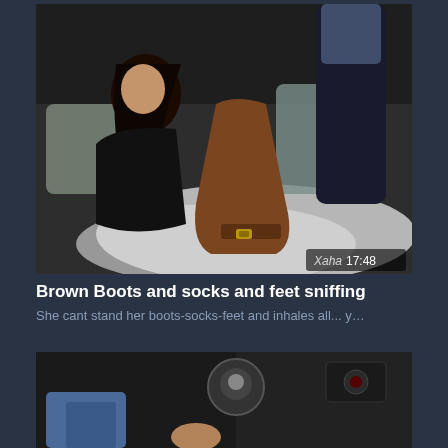[Figure (photo): Video thumbnail showing a woman with dark hair leaning over a brown knee-high boot on a fluffy white rug, with another person's legs in dark jeans visible. Duration badge shows 17:48 and watermark reads Xaha.]
Brown Boots and socks and feet sniffing
She cant stand her boots-socks-feet and inhales all... y…
[Figure (photo): Video thumbnail showing a close-up of car interior with a gear shift or steering column, blurry, with legs in blue jeans visible.]